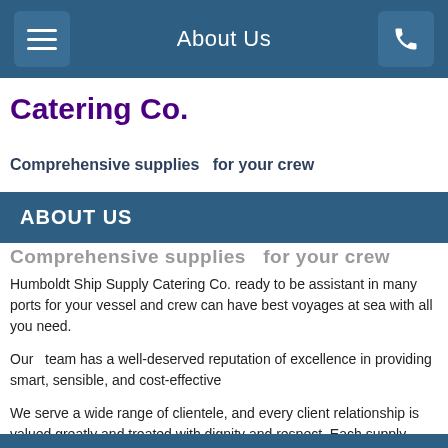About Us
Catering Co.
Comprehensive supplies  for your crew
ABOUT US
Comprehensive supplies  for your crew
Humboldt Ship Supply Catering Co. ready to be assistant in many ports for your vessel and crew can have best voyages at sea with all you need.
Our  team has a well-deserved reputation of excellence in providing smart, sensible, and cost-effective
We serve a wide range of clientele, and every client relationship is valued greatly and treated with dignity and respect. Each supply benefits from the depth and breadth of our expertise.